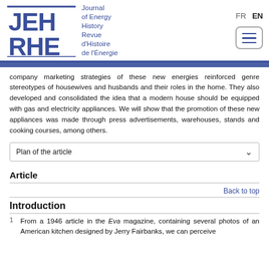JEH RHE — Journal of Energy History / Revue d'Histoire de l'Énergie
company marketing strategies of these new energies reinforced genre stereotypes of housewives and husbands and their roles in the home. They also developed and consolidated the idea that a modern house should be equipped with gas and electricity appliances. We will show that the promotion of these new appliances was made through press advertisements, warehouses, stands and cooking courses, among others.
Plan of the article
Article
Back to top
Introduction
1  From a 1946 article in the Eva magazine, containing several photos of an American kitchen designed by Jerry Fairbanks, we can perceive